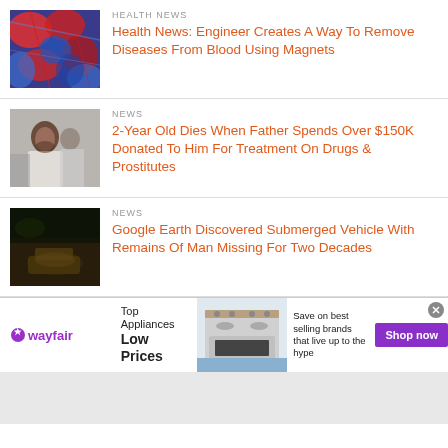HEALTH NEWS
[Figure (photo): Abstract red and blue cell-like illustration]
Health News: Engineer Creates A Way To Remove Diseases From Blood Using Magnets
NEWS
[Figure (photo): A bearded man being escorted, news photo]
2-Year Old Dies When Father Spends Over $150K Donated To Him For Treatment On Drugs & Prostitutes
NEWS
[Figure (photo): Dark underwater photo of submerged vehicle]
Google Earth Discovered Submerged Vehicle With Remains Of Man Missing For Two Decades
[Figure (other): Wayfair advertisement banner: Top Appliances Low Prices, Save on best selling brands that live up to the hype, Shop now button]